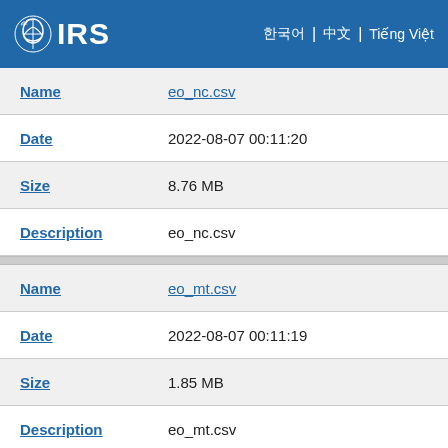IRS
| Field | Value |
| --- | --- |
| Name | eo_nc.csv |
| Date | 2022-08-07 00:11:20 |
| Size | 8.76 MB |
| Description | eo_nc.csv |
| Name | eo_mt.csv |
| Date | 2022-08-07 00:11:19 |
| Size | 1.85 MB |
| Description | eo_mt.csv |
| Name | eo_ms.csv |
| Date | 2022-08-07 00:11:18 |